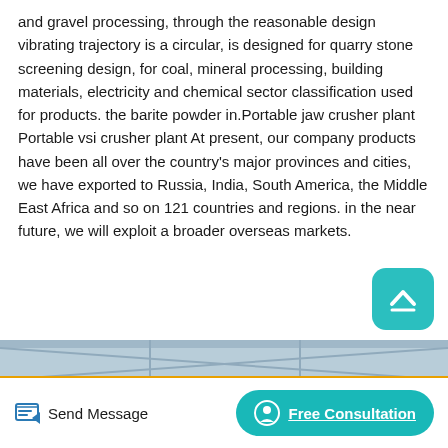and gravel processing, through the reasonable design vibrating trajectory is a circular, is designed for quarry stone screening design, for coal, mineral processing, building materials, electricity and chemical sector classification used for products. the barite powder in.Portable jaw crusher plant Portable vsi crusher plant At present, our company products have been all over the country's major provinces and cities, we have exported to Russia, India, South America, the Middle East Africa and so on 121 countries and regions. in the near future, we will exploit a broader overseas markets.
[Figure (photo): Industrial factory floor with large crusher machinery featuring large black and orange flywheels/pulleys, steel structure columns, blue banners in background, industrial warehouse setting.]
Send Message | Free Consultation